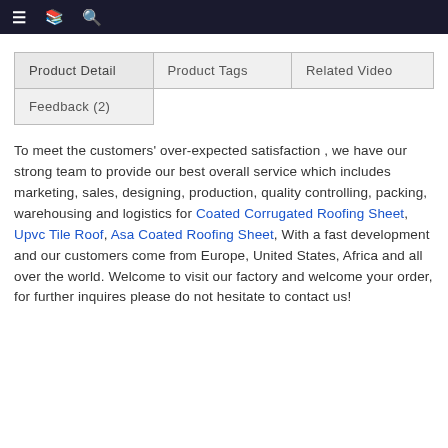≡  [icon]  🔍
| Product Detail | Product Tags | Related Video |
| --- | --- | --- |
| Feedback (2) |  |  |
To meet the customers' over-expected satisfaction , we have our strong team to provide our best overall service which includes marketing, sales, designing, production, quality controlling, packing, warehousing and logistics for Coated Corrugated Roofing Sheet, Upvc Tile Roof, Asa Coated Roofing Sheet, With a fast development and our customers come from Europe, United States, Africa and all over the world. Welcome to visit our factory and welcome your order, for further inquires please do not hesitate to contact us!